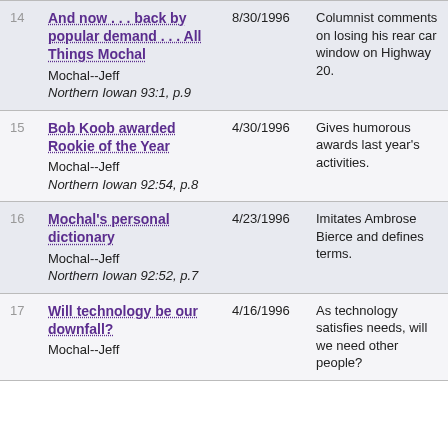| # | Title / Author / Source | Date | Description |
| --- | --- | --- | --- |
| 14 | And now . . . back by popular demand . . . All Things Mochal
Mochal--Jeff
Northern Iowan 93:1, p.9 | 8/30/1996 | Columnist comments on losing his rear car window on Highway 20. |
| 15 | Bob Koob awarded Rookie of the Year
Mochal--Jeff
Northern Iowan 92:54, p.8 | 4/30/1996 | Gives humorous awards last year's activities. |
| 16 | Mochal's personal dictionary
Mochal--Jeff
Northern Iowan 92:52, p.7 | 4/23/1996 | Imitates Ambrose Bierce and defines terms. |
| 17 | Will technology be our downfall?
Mochal--Jeff | 4/16/1996 | As technology satisfies needs, will we need other people? |